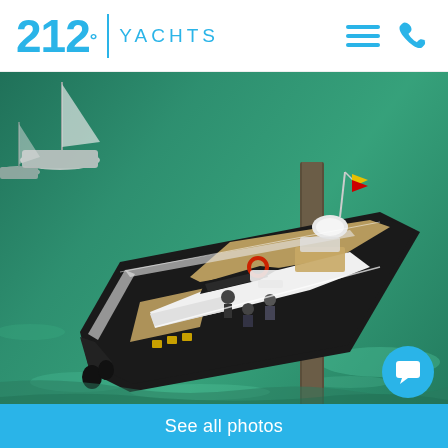[Figure (logo): 212° Yachts logo in cyan/light blue with degree symbol and vertical divider bar]
[Figure (photo): Aerial view of a large luxury motor yacht (black hull with white superstructure) docked at a pier, surrounded by blue-green water. People visible on deck. Another sailing vessel in the background.]
See all photos